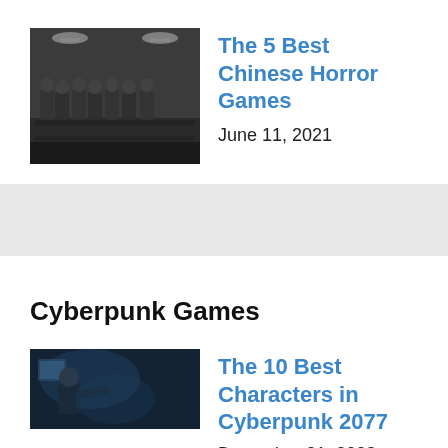[Figure (photo): Black and white photo showing multiple figures in a horror-game style, seated in a classroom or similar setting]
The 5 Best Chinese Horror Games
June 11, 2021
Cyberpunk Games
[Figure (photo): Dark cyberpunk-style image showing a male character in a dimly lit futuristic environment]
The 10 Best Characters in Cyberpunk 2077
December 21, 2023